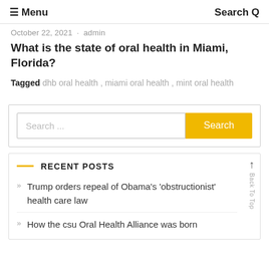≡ Menu   Search Q
October 22, 2021 · admin
What is the state of oral health in Miami, Florida?
Tagged  dhb oral health ,  miami oral health ,  mint oral health
[Figure (other): Search widget with text input and orange Search button]
RECENT POSTS
Trump orders repeal of Obama's 'obstructionist' health care law
How the csu Oral Health Alliance was born